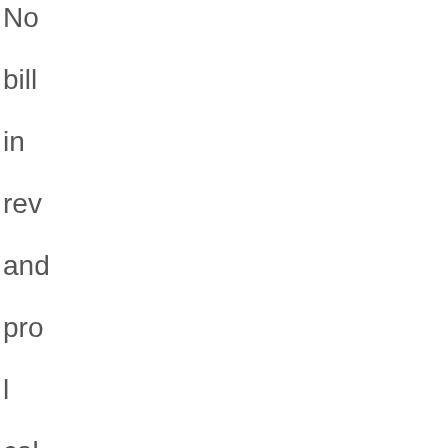No bill in rev and pro l cal in De tha the Elo Eff ha alr wi ou